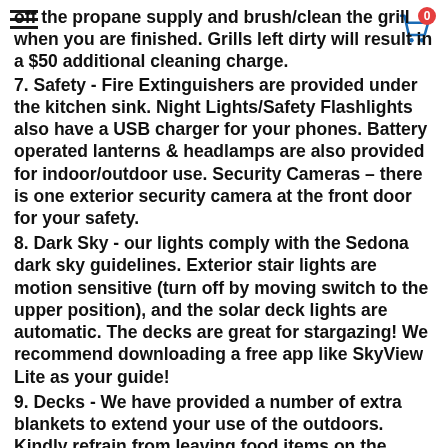off the propane supply and brush/clean the grill when you are finished. Grills left dirty will result in a $50 additional cleaning charge.
7. Safety - Fire Extinguishers are provided under the kitchen sink. Night Lights/Safety Flashlights also have a USB charger for your phones. Battery operated lanterns & headlamps are also provided for indoor/outdoor use. Security Cameras – there is one exterior security camera at the front door for your safety.
8. Dark Sky - our lights comply with the Sedona dark sky guidelines. Exterior stair lights are motion sensitive (turn off by moving switch to the upper position), and the solar deck lights are automatic. The decks are great for stargazing! We recommend downloading a free app like SkyView Lite as your guide!
9. Decks - We have provided a number of extra blankets to extend your use of the outdoors. Kindly refrain from leaving food items on the deck, unless you'd like a visit from local wildlife!